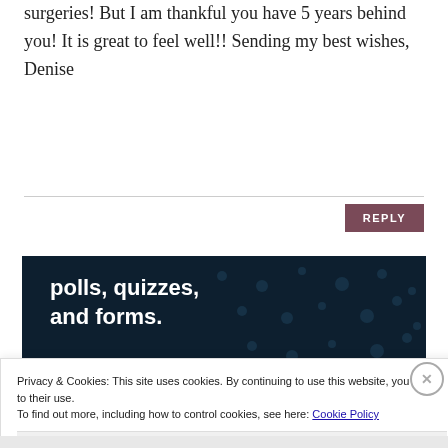surgeries! But I am thankful you have 5 years behind you! It is great to feel well!! Sending my best wishes, Denise
[Figure (screenshot): Dark navy advertisement banner for polls, quizzes, and forms with a 'Start now' pink button and a Crowdsignal logo]
Privacy & Cookies: This site uses cookies. By continuing to use this website, you agree to their use.
To find out more, including how to control cookies, see here: Cookie Policy
Close and accept